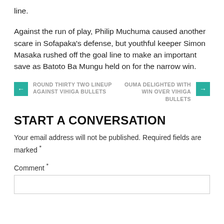line.
Against the run of play, Philip Muchuma caused another scare in Sofapaka's defense, but youthful keeper Simon Masaka rushed off the goal line to make an important save as Batoto Ba Mungu held on for the narrow win.
← ROUND THIRTY TWO LINEUP AGAINST VIHIGA BULLETS
OUMA DELIGHTED WITH WIN OVER VIHIGA BULLETS →
START A CONVERSATION
Your email address will not be published. Required fields are marked *
Comment *